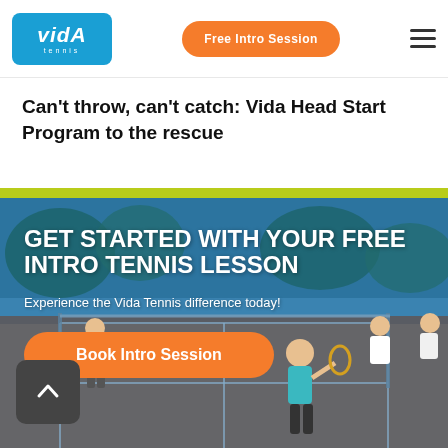[Figure (logo): Vida Tennis logo - blue rounded rectangle with white italic text 'VidA' and 'tennis' below]
Free Intro Session
Can't throw, can't catch: Vida Head Start Program to the rescue
[Figure (photo): Tennis court scene with players in action, blue-tinted overlay, showing adults playing tennis on an outdoor court]
GET STARTED WITH YOUR FREE INTRO TENNIS LESSON
Experience the Vida Tennis difference today!
Book Intro Session